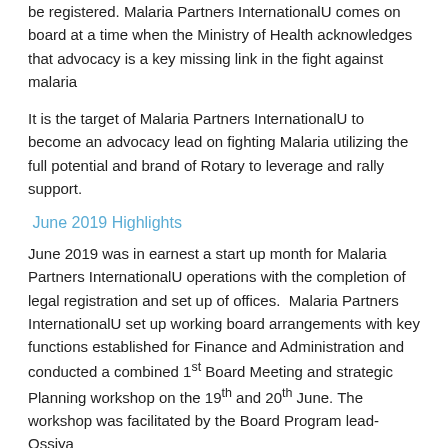be registered. Malaria Partners InternationalU comes on board at a time when the Ministry of Health acknowledges that advocacy is a key missing link in the fight against malaria
It is the target of Malaria Partners InternationalU to become an advocacy lead on fighting Malaria utilizing the full potential and brand of Rotary to leverage and rally support.
June 2019 Highlights
June 2019 was in earnest a start up month for Malaria Partners InternationalU operations with the completion of legal registration and set up of offices. Malaria Partners InternationalU set up working board arrangements with key functions established for Finance and Administration and conducted a combined 1st Board Meeting and strategic Planning workshop on the 19th and 20th June. The workshop was facilitated by the Board Program lead- Ossiya